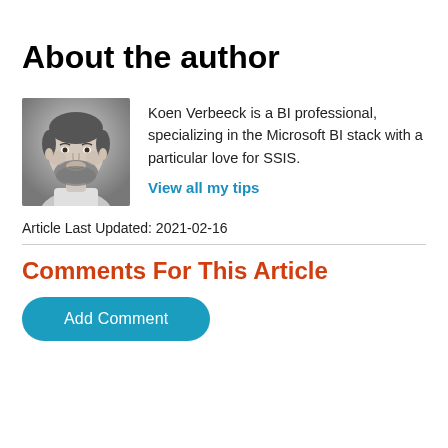About the author
[Figure (photo): Black and white headshot photo of Koen Verbeeck, a man with short hair and a beard]
Koen Verbeeck is a BI professional, specializing in the Microsoft BI stack with a particular love for SSIS.
View all my tips
Article Last Updated: 2021-02-16
Comments For This Article
Add Comment